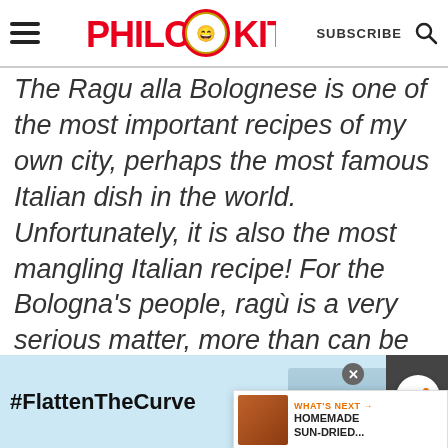Philos Kitchen — SUBSCRIBE
The Ragu alla Bolognese is one of the most important recipes of my own city, perhaps the most famous Italian dish in the world. Unfortunately, it is also the most mangling Italian recipe! For the Bologna's people, ragù is a very serious matter, more than can be expressed. The preparation of this
[Figure (other): What's Next overlay with thumbnail image and text: WHAT'S NEXT → HOMEMADE SUN-DRIED...]
[Figure (other): Ad banner at the bottom: #FlattenTheCurve with hand-washing image and logos]